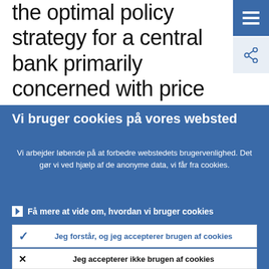the optimal policy strategy for a central bank primarily concerned with price stability over the appropriate time horizon. It would not be necessary to target any asset price or pursue a separate financial
Vi bruger cookies på vores websted
Vi arbejder løbende på at forbedre webstedets brugervenlighed. Det gør vi ved hjælp af de anonyme data, vi får fra cookies.
▶ Få mere at vide om, hvordan vi bruger cookies
✓ Jeg forstår, og jeg accepterer brugen af cookies
✗ Jeg accepterer ikke brugen af cookies